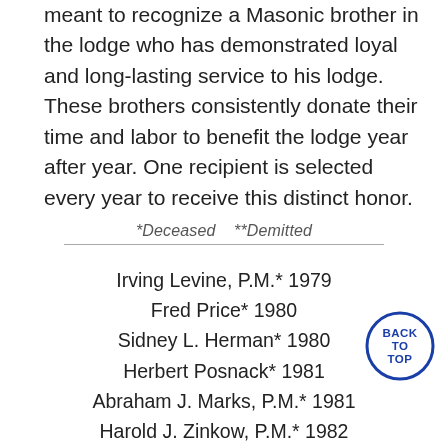meant to recognize a Masonic brother in the lodge who has demonstrated loyal and long-lasting service to his lodge. These brothers consistently donate their time and labor to benefit the lodge year after year. One recipient is selected every year to receive this distinct honor.
*Deceased  **Demitted
Irving Levine, P.M.* 1979
Fred Price* 1980
Sidney L. Herman* 1980
Herbert Posnack* 1981
Abraham J. Marks, P.M.* 1981
Harold J. Zinkow, P.M.* 1982
Allen Price* 1983
Irwin Rosenberg 1984